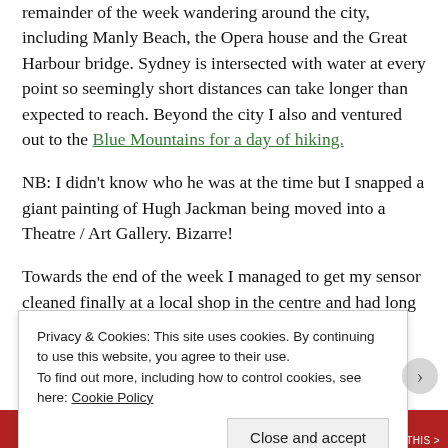remainder of the week wandering around the city, including Manly Beach, the Opera house and the Great Harbour bridge. Sydney is intersected with water at every point so seemingly short distances can take longer than expected to reach. Beyond the city I also and ventured out to the Blue Mountains for a day of hiking.
NB: I didn't know who he was at the time but I snapped a giant painting of Hugh Jackman being moved into a Theatre / Art Gallery. Bizarre!
Towards the end of the week I managed to get my sensor cleaned finally at a local shop in the centre and had long chats with a young man called Darren who taught me about ISO –
Privacy & Cookies: This site uses cookies. By continuing to use this website, you agree to their use. To find out more, including how to control cookies, see here: Cookie Policy